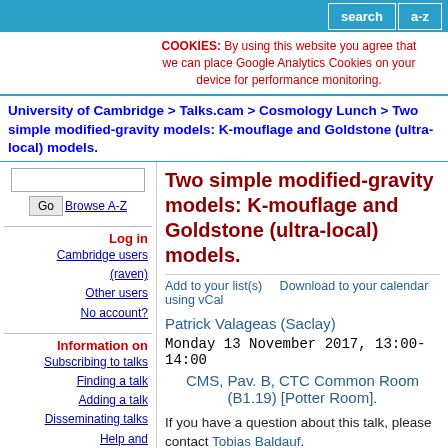search | a-z
COOKIES: By using this website you agree that we can place Google Analytics Cookies on your device for performance monitoring.
University of Cambridge > Talks.cam > Cosmology Lunch > Two simple modified-gravity models: K-mouflage and Goldstone (ultra-local) models.
Two simple modified-gravity models: K-mouflage and Goldstone (ultra-local) models.
Add to your list(s)    Download to your calendar using vCal
Patrick Valageas (Saclay)
Monday 13 November 2017, 13:00-14:00
CMS, Pav. B, CTC Common Room (B1.19) [Potter Room].
If you have a question about this talk, please contact Tobias Baldauf.
Log in
Cambridge users (raven)
Other users
No account?
Information on
Subscribing to talks
Finding a talk
Adding a talk
Disseminating talks
Help and Documentation